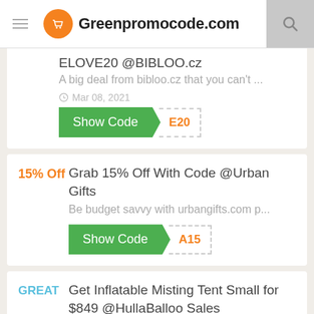Greenpromocode.com
ELOVE20 @BIBLOO.cz
A big deal from bibloo.cz that you can't ...
Mar 08, 2021
Show Code | E20
Grab 15% Off With Code @Urban Gifts
Be budget savvy with urbangifts.com p...
Show Code | A15
Get Inflatable Misting Tent Small for $849 @HullaBalloo Sales